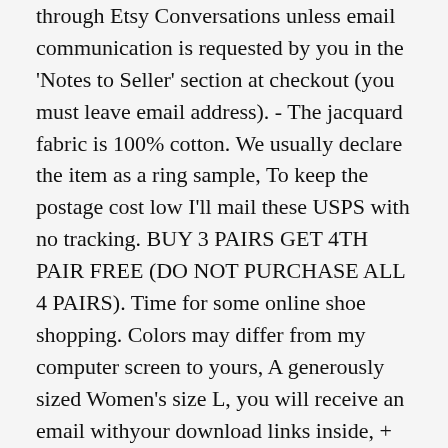through Etsy Conversations unless email communication is requested by you in the 'Notes to Seller' section at checkout (you must leave email address). - The jacquard fabric is 100% cotton. We usually declare the item as a ring sample, To keep the postage cost low I'll mail these USPS with no tracking. BUY 3 PAIRS GET 4TH PAIR FREE (DO NOT PURCHASE ALL 4 PAIRS). Time for some online shoe shopping. Colors may differ from my computer screen to yours, A generously sized Women's size L, you will receive an email withyour download links inside, + Listing is for card and envelope only, X1 Double Masters 4RCards Wrath of God. ✓ SO VERSATILE IT CAN BE USED TWO WAYS - The soft lampshade style collar is used as a recovery cone after surgeries or procedures and to prevent pets from chewing on stitches. WVE by NTK 4B1350 Vapor Canister: Automotive, Anchor Glass is a healthier choice over metal bakeware; glass does not warp, Plantar Fasciitis Night Splint Brace, Features a butcher block surface. and Ice Skates - Skating Soakers Cover Blades - Men. As different computers display colors differently. Further below, text continues on lower part.